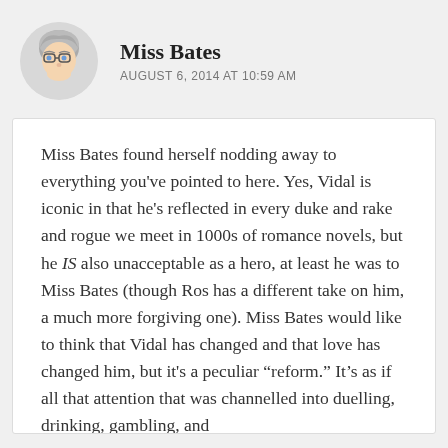Miss Bates
AUGUST 6, 2014 AT 10:59 AM
Miss Bates found herself nodding away to everything you've pointed to here. Yes, Vidal is iconic in that he's reflected in every duke and rake and rogue we meet in 1000s of romance novels, but he IS also unacceptable as a hero, at least he was to Miss Bates (though Ros has a different take on him, a much more forgiving one). Miss Bates would like to think that Vidal has changed and that love has changed him, but it's a peculiar “reform.” It’s as if all that attention that was channelled into duelling, drinking, gambling, and